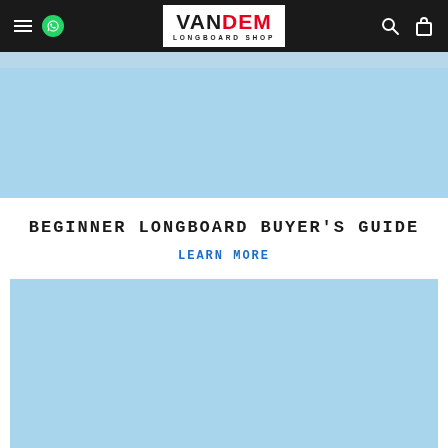VANDEM LONGBOARD SHOP — navigation bar
[Figure (screenshot): Light blue hero banner area]
BEGINNER LONGBOARD BUYER'S GUIDE
LEARN MORE